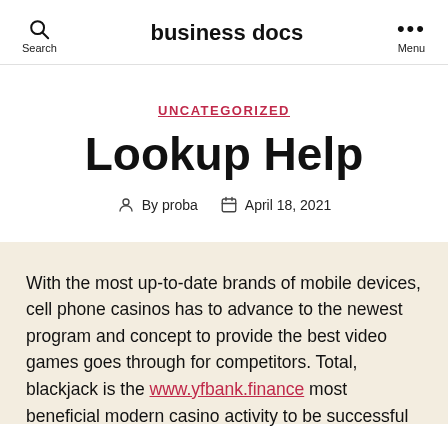business docs
UNCATEGORIZED
Lookup Help
By proba   April 18, 2021
With the most up-to-date brands of mobile devices, cell phone casinos has to advance to the newest program and concept to provide the best video games goes through for competitors. Total, blackjack is the www.yfbank.finance most beneficial modern casino activity to be successful